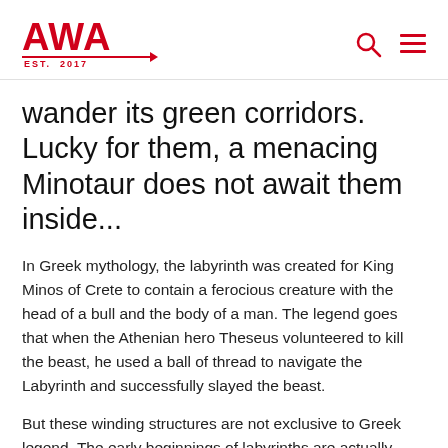AWA EST. 2017
wander its green corridors. Lucky for them, a menacing Minotaur does not await them inside...
In Greek mythology, the labyrinth was created for King Minos of Crete to contain a ferocious creature with the head of a bull and the body of a man. The legend goes that when the Athenian hero Theseus volunteered to kill the beast, he used a ball of thread to navigate the Labyrinth and successfully slayed the beast.
But these winding structures are not exclusive to Greek legend. The early beginnings of labyrinths are actually pretty mysterious, having been documented for